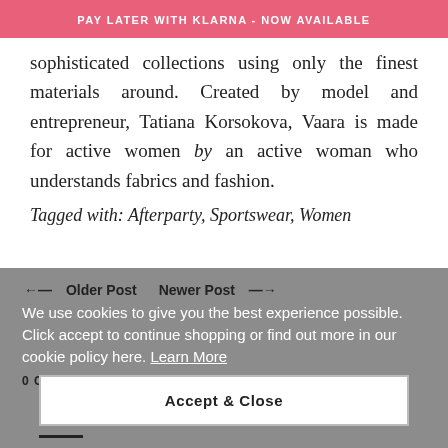PAY LATER WITH KLARNA - NOW AVAILABLE
sophisticated collections using only the finest materials around. Created by model and entrepreneur, Tatiana Korsokova, Vaara is made for active women by an active woman who understands fabrics and fashion.
Tagged with: Afterparty, Sportswear, Women
← Older Post    Newer Post →
We use cookies to give you the best experience possible. Click accept to continue shopping or find out more in our cookie policy here. Learn More
0 COMMENTS
Accept & Close